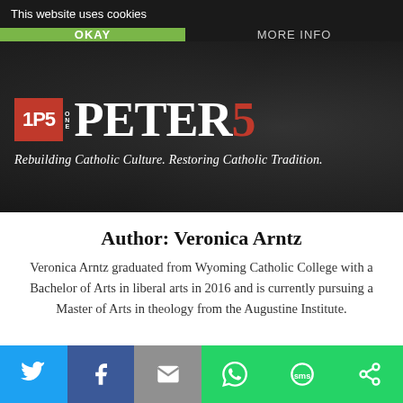This website uses cookies
OKAY
MORE INFO
[Figure (logo): OnePeterFive logo with red 1P5 box, ONE text, PETER in large serif, and red 5]
Rebuilding Catholic Culture. Restoring Catholic Tradition.
Author: Veronica Arntz
Veronica Arntz graduated from Wyoming Catholic College with a Bachelor of Arts in liberal arts in 2016 and is currently pursuing a Master of Arts in theology from the Augustine Institute.
[Figure (infographic): Social sharing bar with Twitter, Facebook, Email, WhatsApp, SMS, and share icons]